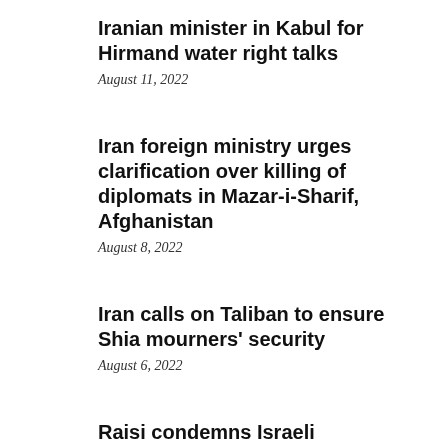Iranian minister in Kabul for Hirmand water right talks
August 11, 2022
Iran foreign ministry urges clarification over killing of diplomats in Mazar-i-Sharif, Afghanistan
August 8, 2022
Iran calls on Taliban to ensure Shia mourners' security
August 6, 2022
Raisi condemns Israeli